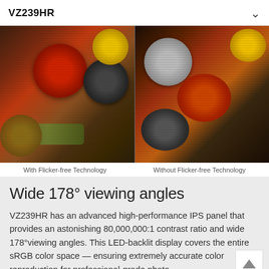VZ239HR
[Figure (photo): Split comparison image of spices in bowls: left side labeled 'With Flicker-free Technology', right side labeled 'Without Flicker-free Technology']
With Flicker-free Technology
Without Flicker-free Technology
Wide 178° viewing angles
VZ239HR has an advanced high-performance IPS panel that provides an astonishing 80,000,000:1 contrast ratio and wide 178°viewing angles. This LED-backlit display covers the entire sRGB color space — ensuring extremely accurate color reproduction for professional-grade photo